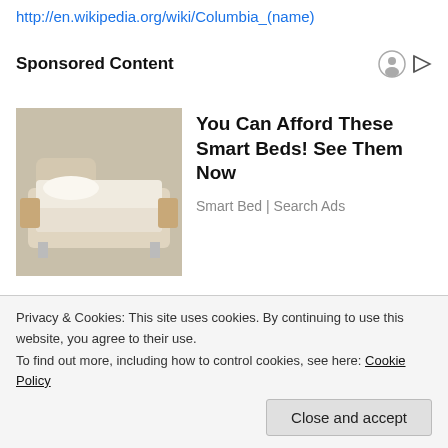http://en.wikipedia.org/wiki/Columbia_(name)
Sponsored Content
[Figure (photo): Smart bed advertisement image showing a cream-colored luxury adjustable smart bed with wooden accents and attached side tables]
You Can Afford These Smart Beds! See Them Now
Smart Bed | Search Ads
[Figure (photo): Person holding US dollar bills, close-up image for small business loans advertisement]
Americans May Get Small Business Loans Approved Regardless of Credit
Privacy & Cookies: This site uses cookies. By continuing to use this website, you agree to their use.
To find out more, including how to control cookies, see here: Cookie Policy
Close and accept